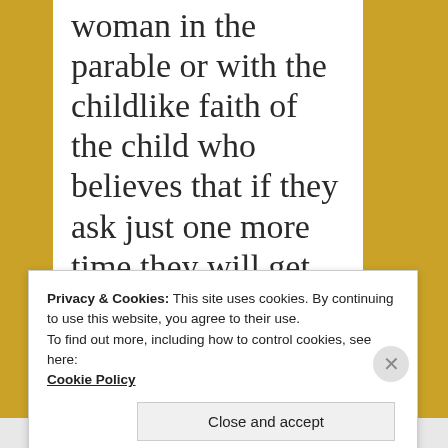woman in the parable or with the childlike faith of the child who believes that if they ask just one more time they will get what they are after?
Privacy & Cookies: This site uses cookies. By continuing to use this website, you agree to their use. To find out more, including how to control cookies, see here: Cookie Policy
Close and accept